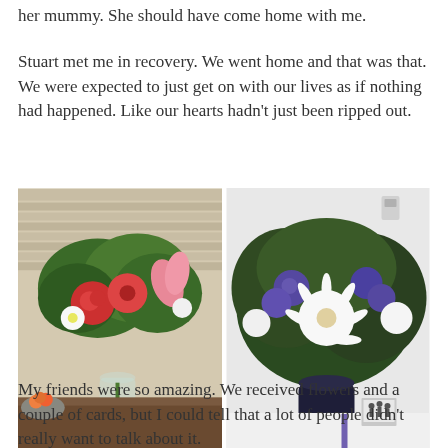her mummy. She should have come home with me.
Stuart met me in recovery. We went home and that was that. We were expected to just get on with our lives as if nothing had happened. Like our hearts hadn't just been ripped out.
[Figure (photo): Two flower bouquets side by side. Left: colorful arrangement with red roses, red gerberas, pink lilies in a glass vase on a dark counter with a fruit bowl. Right: purple and white arrangement with white gerberas, purple lisianthus, white carnations in a dark vase on a white surface.]
My friends were so amazing. We received flowers and a couple of cards, but I could tell that a lot of people didn't really want to talk about it.